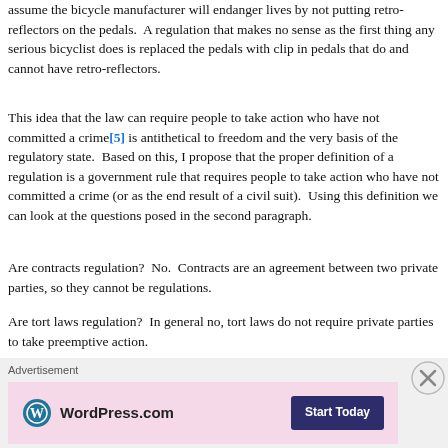assume the bicycle manufacturer will endanger lives by not putting retro-reflectors on the pedals.  A regulation that makes no sense as the first thing any serious bicyclist does is replaced the pedals with clip in pedals that do and cannot have retro-reflectors.
This idea that the law can require people to take action who have not committed a crime[5] is antithetical to freedom and the very basis of the regulatory state.  Based on this, I propose that the proper definition of a regulation is a government rule that requires people to take action who have not committed a crime (or as the end result of a civil suit).  Using this definition we can look at the questions posed in the second paragraph.
Are contracts regulation?  No.  Contracts are an agreement between two private parties, so they cannot be regulations.
Are tort laws regulation?  In general no, tort laws do not require private parties to take preemptive action.
Are laws on recording deeds for land regulation?  No (generally).  At least under common law you are not required to record your deed for your land.  However, failure to do so will undermine your evidentiary standing if you are involved in a fraudulent sale lawsuit.  Note if the fees are higher than
[Figure (other): WordPress.com advertisement banner with 'Start Today' button and close (X) button overlay]